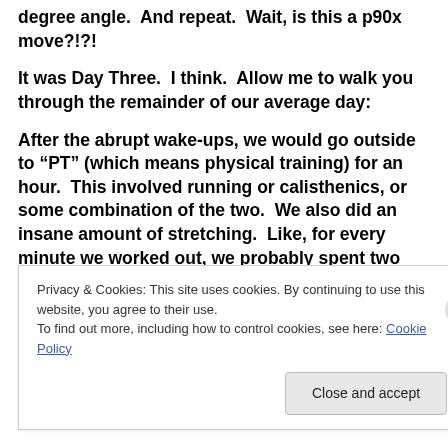degree angle.  And repeat.  Wait, is this a p90x move?!?!
It was Day Three.  I think.  Allow me to walk you through the remainder of our average day:
After the abrupt wake-ups, we would go outside to “PT” (which means physical training) for an hour.  This involved running or calisthenics, or some combination of the two.  We also did an insane amount of stretching.  Like, for every minute we worked out, we probably spent two minutes
Privacy & Cookies: This site uses cookies. By continuing to use this website, you agree to their use.
To find out more, including how to control cookies, see here: Cookie Policy
Close and accept